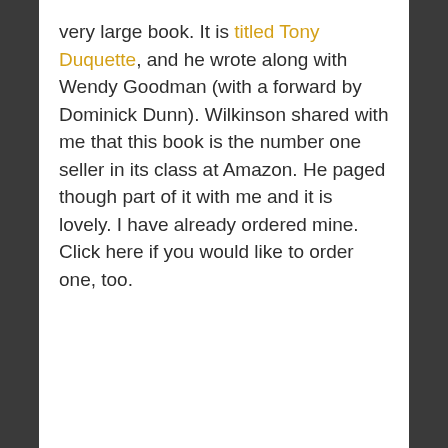very large book. It is titled Tony Duquette, and he wrote along with Wendy Goodman (with a forward by Dominick Dunn). Wilkinson shared with me that this book is the number one seller in its class at Amazon. He paged though part of it with me and it is lovely. I have already ordered mine. Click here if you would like to order one, too.